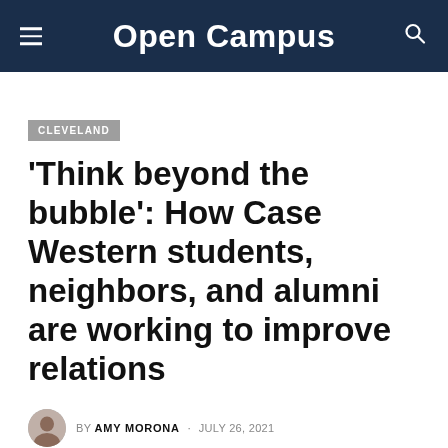Open Campus
CLEVELAND
‘Think beyond the bubble’: How Case Western students, neighbors, and alumni are working to improve relations
BY AMY MORONA · JULY 26, 2021